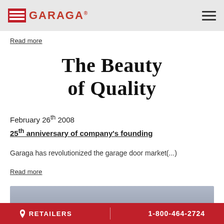GARAGA
Read more
The Beauty of Quality
February 26th 2008
25th anniversary of company's founding
Garaga has revolutionized the garage door market(...)
Read more
[Figure (photo): Image strip at bottom of content area]
RETAILERS   1-800-464-2724